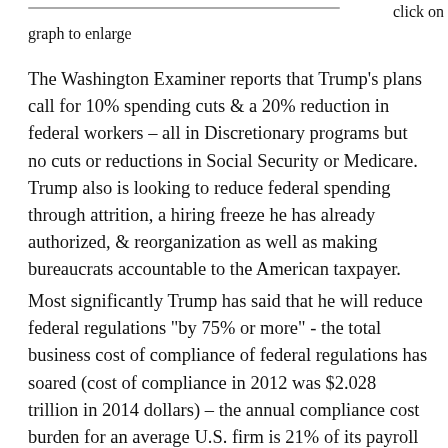click on graph to enlarge
The Washington Examiner reports that Trump's plans call for 10% spending cuts & a 20% reduction in federal workers – all in Discretionary programs but no cuts or reductions in Social Security or Medicare.  Trump also is looking to reduce federal spending through attrition, a hiring freeze he has already authorized, & reorganization as well as making bureaucrats accountable to the American taxpayer.
Most significantly Trump has said that he will reduce federal regulations "by 75% or more" - the total business cost of compliance of federal regulations has soared (cost of compliance in 2012 was $2.028 trillion in 2014 dollars) – the annual compliance cost burden for an average U.S. firm is 21% of its payroll thereby leaving little or no room for investment of any kind so this reduction in regulations